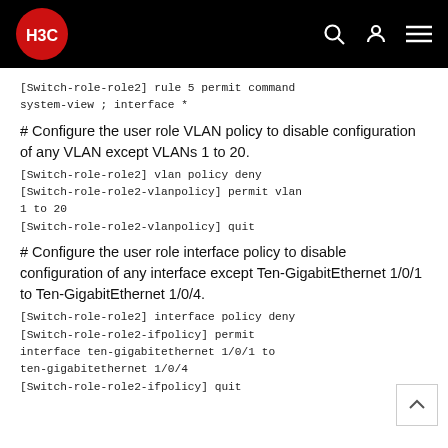H3C
[Switch-role-role2] rule 5 permit command system-view ; interface *
# Configure the user role VLAN policy to disable configuration of any VLAN except VLANs 1 to 20.
[Switch-role-role2] vlan policy deny
[Switch-role-role2-vlanpolicy] permit vlan 1 to 20
[Switch-role-role2-vlanpolicy] quit
# Configure the user role interface policy to disable configuration of any interface except Ten-GigabitEthernet 1/0/1 to Ten-GigabitEthernet 1/0/4.
[Switch-role-role2] interface policy deny
[Switch-role-role2-ifpolicy] permit interface ten-gigabitethernet 1/0/1 to ten-gigabitethernet 1/0/4
[Switch-role-role2-ifpolicy] quit